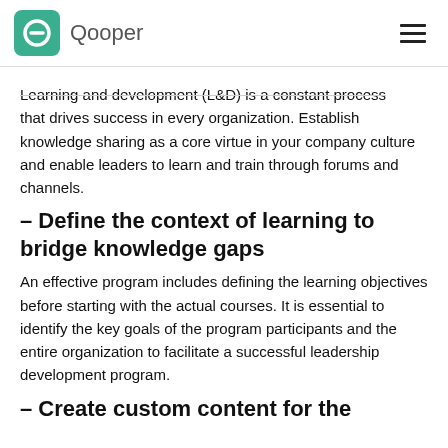Qooper
Learning and development (L&D) is a constant process that drives success in every organization. Establish knowledge sharing as a core virtue in your company culture and enable leaders to learn and train through forums and channels.
- Define the context of learning to bridge knowledge gaps
An effective program includes defining the learning objectives before starting with the actual courses. It is essential to identify the key goals of the program participants and the entire organization to facilitate a successful leadership development program.
- Create custom content for the